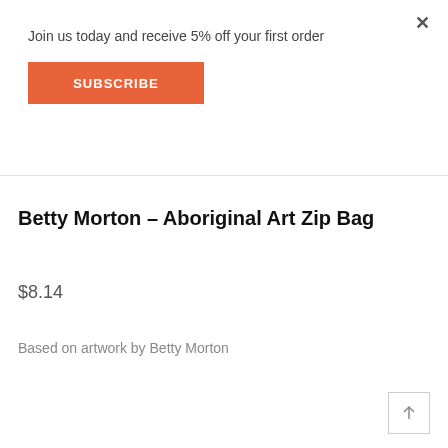Join us today and receive 5% off your first order
SUBSCRIBE
Betty Morton – Aboriginal Art Zip Bag
$8.14
Based on artwork by Betty Morton